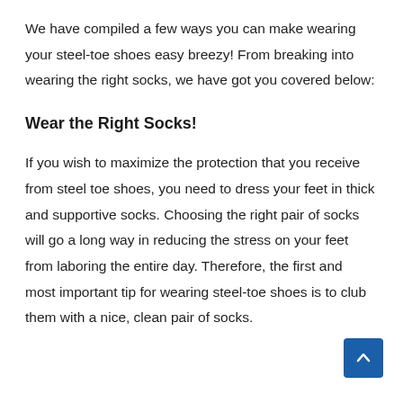We have compiled a few ways you can make wearing your steel-toe shoes easy breezy! From breaking into wearing the right socks, we have got you covered below:
Wear the Right Socks!
If you wish to maximize the protection that you receive from steel toe shoes, you need to dress your feet in thick and supportive socks. Choosing the right pair of socks will go a long way in reducing the stress on your feet from laboring the entire day. Therefore, the first and most important tip for wearing steel-toe shoes is to club them with a nice, clean pair of socks.